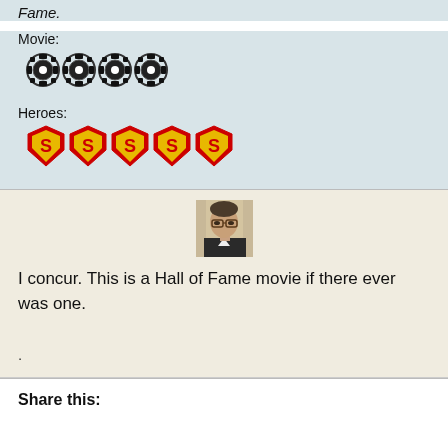Fame.
Movie:
[Figure (illustration): Four film reel pixel-art icons in black and white]
Heroes:
[Figure (illustration): Five Superman shield pixel-art icons in red and yellow]
[Figure (photo): Headshot of a man with glasses and dark hair wearing a suit]
I concur. This is a Hall of Fame movie if there ever was one.
.
Share this: